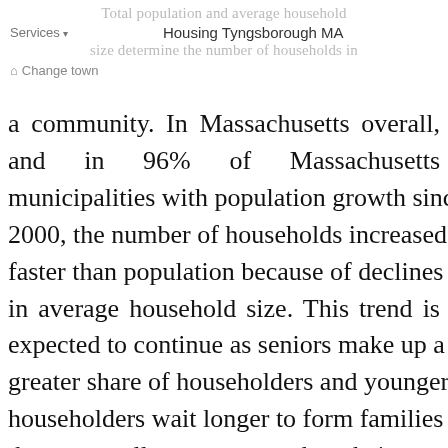Total population and average household
Services ▾   Housing Tyngsborough MA
size determine the number of households in
⌂ Change town
a community. In Massachusetts overall, and in 96% of Massachusetts municipalities with population growth since 2000, the number of households increased faster than population because of declines in average household size. This trend is expected to continue as seniors make up a greater share of householders and younger householders wait longer to form families that are smaller on average than their